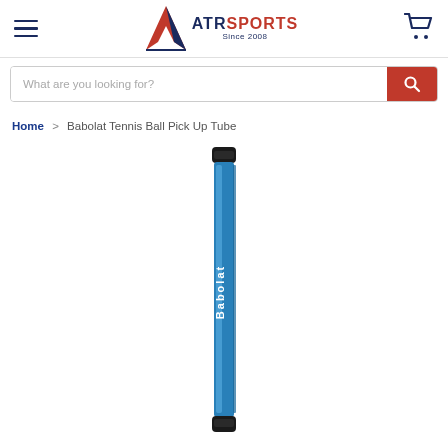[Figure (logo): ATR Sports logo with mountain/arrow icon and text 'ATRSPORTS Since 2008']
[Figure (screenshot): Search bar with placeholder text 'What are you looking for?' and red search button]
Home > Babolat Tennis Ball Pick Up Tube
[Figure (photo): Babolat Tennis Ball Pick Up Tube - a tall narrow blue cylindrical tube with black end caps and white Babolat logo text on the side]